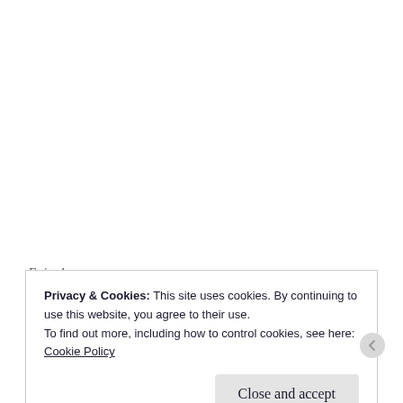Enjoy!
Ursula
Privacy & Cookies: This site uses cookies. By continuing to use this website, you agree to their use.
To find out more, including how to control cookies, see here:
Cookie Policy
Close and accept